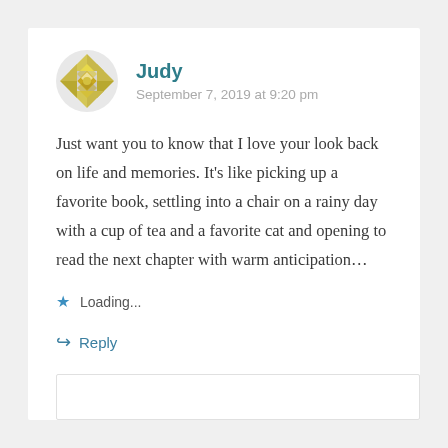[Figure (illustration): Decorative avatar icon: geometric quilt-pattern diamond shape in gold/yellow tones with gray/white accents]
Judy
September 7, 2019 at 9:20 pm
Just want you to know that I love your look back on life and memories. It’s like picking up a favorite book, settling into a chair on a rainy day with a cup of tea and a favorite cat and opening to read the next chapter with warm anticipation…
Loading...
Reply